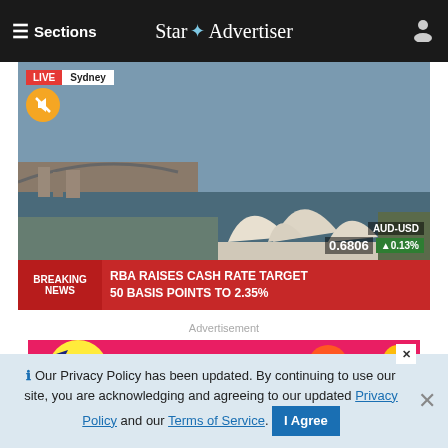≡ Sections   Star Advertiser
[Figure (screenshot): Live news broadcast showing aerial view of Sydney Opera House with LIVE Sydney badge, AUD-USD 0.6806 +0.13% ticker, and breaking news bar: BREAKING NEWS RBA RAISES CASH RATE TARGET 50 BASIS POINTS TO 2.35%]
Advertisement
[Figure (photo): Colorful advertisement banner with yellow, pink, and orange shapes]
ℹ Our Privacy Policy has been updated. By continuing to use our site, you are acknowledging and agreeing to our updated Privacy Policy and our Terms of Service. I Agree